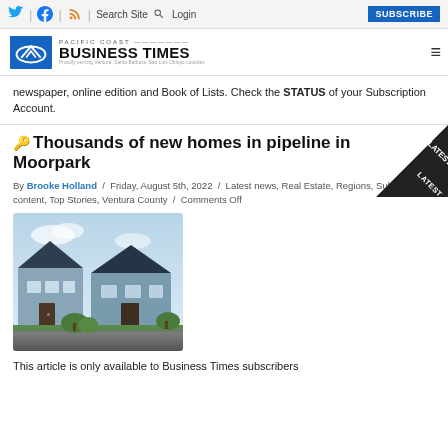Twitter | Facebook | RSS | Search Site | Login | SUBSCRIBE
[Figure (logo): Pacific Coast Business Times logo with blue shield icon and text]
newspaper, online edition and Book of Lists. Check the STATUS of your Subscription Account.
Thousands of new homes in pipeline in Moorpark
By Brooke Holland / Friday, August 5th, 2022 / Latest news, Real Estate, Regions, Subscriber content, Top Stories, Ventura County / Comments Off
[Figure (photo): Exterior photo of modern two-story residential homes with blue-gray siding and dark roof, landscaped driveway, blue sky]
This article is only available to Business Times subscribers